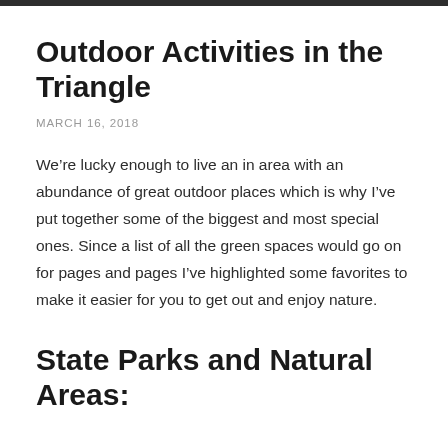Outdoor Activities in the Triangle
MARCH 16, 2018
We're lucky enough to live an in area with an abundance of great outdoor places which is why I've put together some of the biggest and most special ones. Since a list of all the green spaces would go on for pages and pages I've highlighted some favorites to make it easier for you to get out and enjoy nature.
State Parks and Natural Areas: